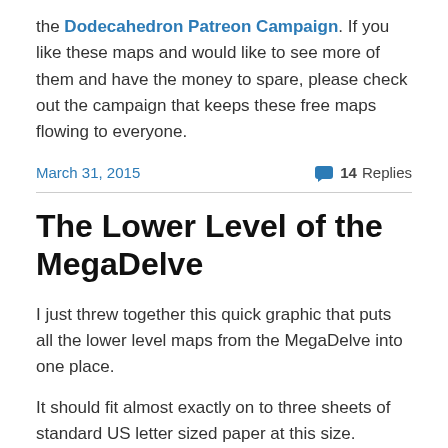the Dodecahedron Patreon Campaign. If you like these maps and would like to see more of them and have the money to spare, please check out the campaign that keeps these free maps flowing to everyone.
March 31, 2015   💬 14 Replies
The Lower Level of the MegaDelve
I just threw together this quick graphic that puts all the lower level maps from the MegaDelve into one place.
It should fit almost exactly on to three sheets of standard US letter sized paper at this size.